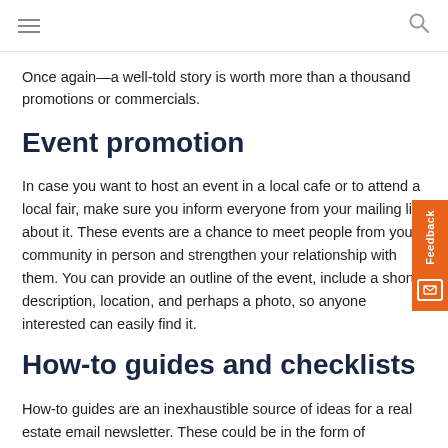Once again—a well-told story is worth more than a thousand promotions or commercials.
Event promotion
In case you want to host an event in a local cafe or to attend a local fair, make sure you inform everyone from your mailing list about it. These events are a chance to meet people from your community in person and strengthen your relationship with them. You can provide an outline of the event, include a short description, location, and perhaps a photo, so anyone interested can easily find it.
How-to guides and checklists
How-to guides are an inexhaustible source of ideas for a real estate email newsletter. These could be in the form of